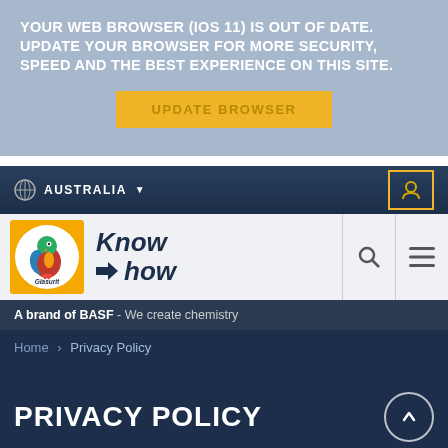YOUR WEB BROWSER (IOS 11) IS OUT OF DATE. UPDATE YOUR BROWSER FOR MORE SECURITY, SPEED AND THE BEST EXPERIENCE ON THIS SITE.
[Figure (screenshot): Yellow 'UPDATE BROWSER' button]
[Figure (screenshot): Navigation bar with globe icon, AUSTRALIA text with chevron, and user account button with yellow border]
[Figure (logo): Glasurit Know How logo - orange square with parrot mascot and Know how italic text]
[Figure (screenshot): Search and hamburger menu icons]
A brand of BASF - We create chemistry
Home > Privacy Policy
PRIVACY POLICY
[Figure (screenshot): Scroll to top circular button with up arrow]